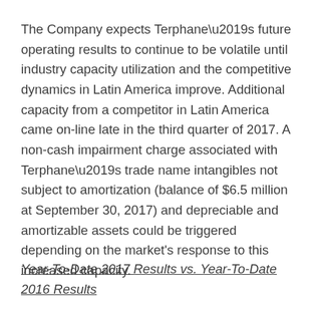The Company expects Terphane's future operating results to continue to be volatile until industry capacity utilization and the competitive dynamics in Latin America improve. Additional capacity from a competitor in Latin America came on-line late in the third quarter of 2017. A non-cash impairment charge associated with Terphane's trade name intangibles not subject to amortization (balance of $6.5 million at September 30, 2017) and depreciable and amortizable assets could be triggered depending on the market's response to this increased capacity.
Year-To-Date 2017 Results vs. Year-To-Date 2016 Results